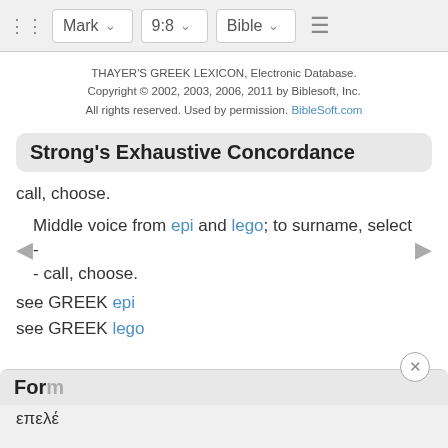Mark  9:8  Bible
THAYER'S GREEK LEXICON, Electronic Database. Copyright © 2002, 2003, 2006, 2011 by Biblesoft, Inc. All rights reserved. Used by permission. BibleSoft.com
Strong's Exhaustive Concordance
call, choose.
Middle voice from epi and lego; to surname, select - - call, choose.
see GREEK epi
see GREEK lego
For
επελέ